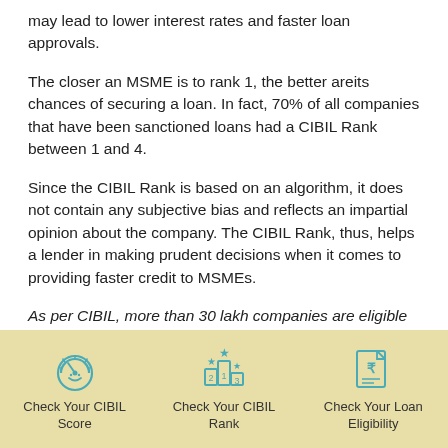may lead to lower interest rates and faster loan approvals.
The closer an MSME is to rank 1, the better areits chances of securing a loan. In fact, 70% of all companies that have been sanctioned loans had a CIBIL Rank between 1 and 4.
Since the CIBIL Rank is based on an algorithm, it does not contain any subjective bias and reflects an impartial opinion about the company. The CIBIL Rank, thus, helps a lender in making prudent decisions when it comes to providing faster credit to MSMEs.
As per CIBIL, more than 30 lakh companies are eligible for the Rank in India.
[Figure (infographic): Footer bar with three teal icons and labels: Check Your CIBIL Score, Check Your CIBIL Rank, Check Your Loan Eligibility]